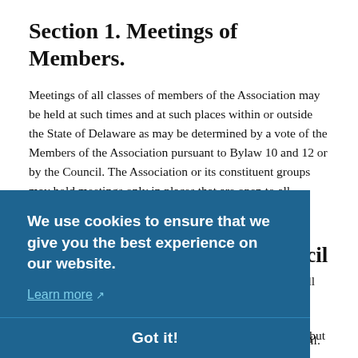Section 1. Meetings of Members.
Meetings of all classes of members of the Association may be held at such times and at such places within or outside the State of Delaware as may be determined by a vote of the Members of the Association pursuant to Bylaw 10 and 12 or by the Council. The Association or its constituent groups may hold meetings only in places that are open to all members of the Association.
Section 2. Attendance at Council Meetings.
Any interested member of the Association may attend meetings of the Council and may take part in discussion but not vote.
[Figure (screenshot): Cookie consent banner overlay with dark blue background. Text reads: 'We use cookies to ensure that we give you the best experience on our website.' with a 'Learn more' link and external link icon. A 'Got it!' button appears at the bottom of the banner.]
ch the ess shall agenda jority oved an alternative procedure, Robert's Rules of Order will prevail.